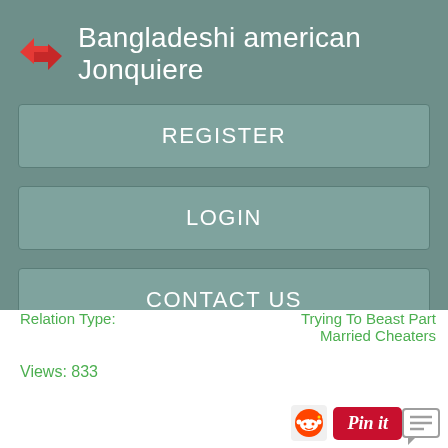Bangladeshi american Jonquiere
REGISTER
LOGIN
CONTACT US
Relation Type:
Trying To Beast Part Married Cheaters
Views: 833